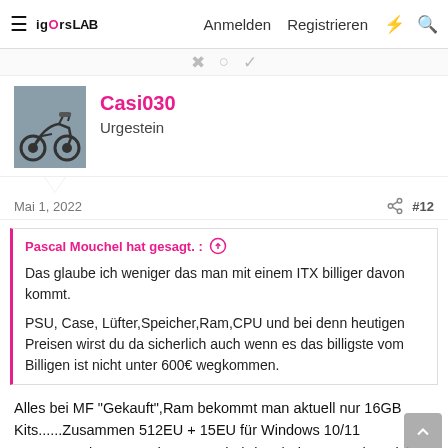IgOrsLAB — Anmelden  Registrieren
Casi030
Urgestein
Mai 1, 2022   #12
Pascal Mouchel hat gesagt. :
Das glaube ich weniger das man mit einem ITX billiger davon kommt.
PSU, Case, Lüfter,Speicher,Ram,CPU und bei denn heutigen Preisen wirst du da sicherlich auch wenn es das billigste vom Billigen ist nicht unter 600€ wegkommen.
Alles bei MF "Gekauft",Ram bekommt man aktuell nur 16GB Kits......Zusammen 512EU + 15EU für Windows 10/11
Der 5700G kostet rund 80EU mehr,bringt bei 25Watt aber nicht wirklich viel mehr weil die iGPU da noch gedrosselt wird.
Produktvergleich Inter-Tech JX-500 schwarz, Inter-Tech 90...